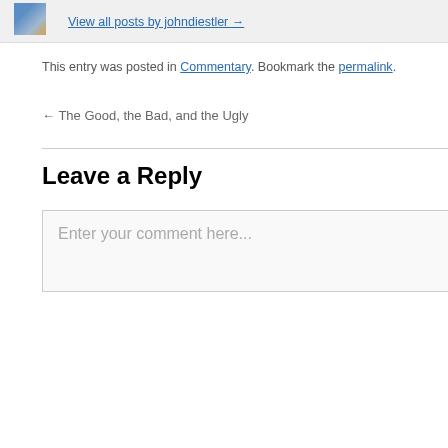[Figure (photo): Small author photo thumbnail in top bar]
View all posts by johndiestler →
This entry was posted in Commentary. Bookmark the permalink.
← The Good, the Bad, and the Ugly
Leave a Reply
Enter your comment here...